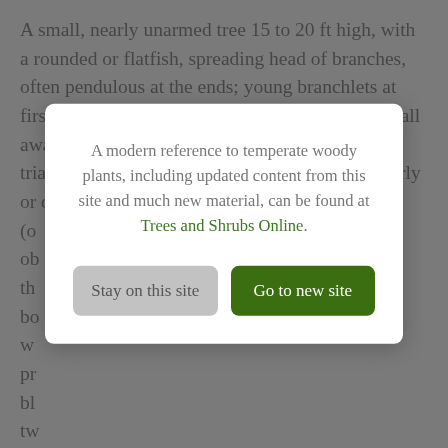A small, nearly unarmed tree 15 to 20 ft high, with a rounded or flatfish, spreading head of branches, often pendulous at the ends; young branchlets at first covered with whitish hairs, many of which fall away by the end of the season. Leaves mostly triangular or lozenge-shaped; 1 to 2 in. long, nearly or quite as much wide; wedge-shaped to... (obscured by modal) ...globose, downy.
[Figure (screenshot): Modal dialog overlay on a webpage. Modal contains text: 'A modern reference to temperate woody plants, including updated content from this site and much new material, can be found at Trees and Shrubs Online.' with two buttons: 'Stay on this site' (gray) and 'Go to new site' (dark green).]
Native of the, Orient; introduced in 1810. This beautiful thorn is much planted in the south of England, and is common in some of the London parks. Both in flower and